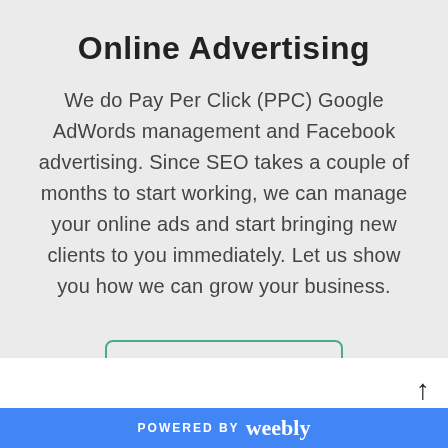Online Advertising
We do Pay Per Click (PPC) Google AdWords management and Facebook advertising. Since SEO takes a couple of months to start working, we can manage your online ads and start bringing new clients to you immediately. Let us show you how we can grow your business.
LEARN MORE
POWERED BY weebly